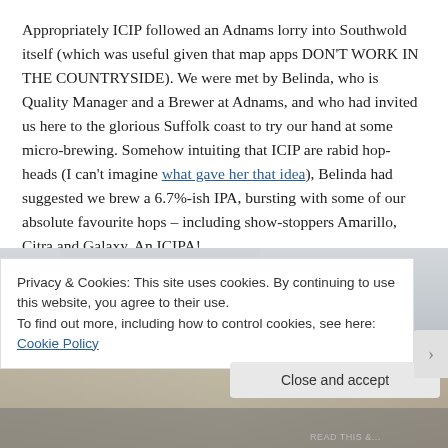Appropriately ICIP followed an Adnams lorry into Southwold itself (which was useful given that map apps DON'T WORK IN THE COUNTRYSIDE). We were met by Belinda, who is Quality Manager and a Brewer at Adnams, and who had invited us here to the glorious Suffolk coast to try our hand at some micro-brewing. Somehow intuiting that ICIP are rabid hop-heads (I can't imagine what gave her that idea), Belinda had suggested we brew a 6.7%-ish IPA, bursting with some of our absolute favourite hops – including show-stoppers Amarillo, Citra and Galaxy. An ICIPA!
[Figure (photo): Partial view of what appears to be a brewery interior, showing blurred background with warm tones]
Privacy & Cookies: This site uses cookies. By continuing to use this website, you agree to their use.
To find out more, including how to control cookies, see here: Cookie Policy
Close and accept